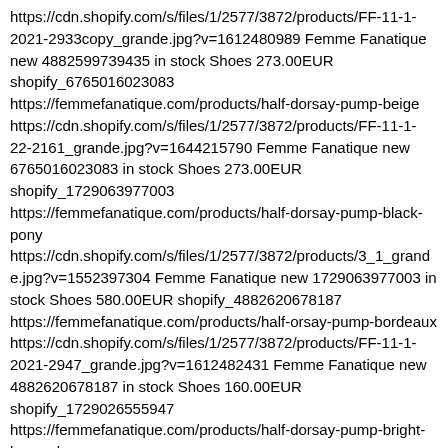https://cdn.shopify.com/s/files/1/2577/3872/products/FF-11-1-2021-2933copy_grande.jpg?v=1612480989 Femme Fanatique new 4882599739435 in stock Shoes 273.00EUR shopify_6765016023083 https://femmefanatique.com/products/half-dorsay-pump-beige https://cdn.shopify.com/s/files/1/2577/3872/products/FF-11-1-22-2161_grande.jpg?v=1644215790 Femme Fanatique new 6765016023083 in stock Shoes 273.00EUR shopify_1729063977003 https://femmefanatique.com/products/half-dorsay-pump-black-pony https://cdn.shopify.com/s/files/1/2577/3872/products/3_1_grande.jpg?v=1552397304 Femme Fanatique new 1729063977003 in stock Shoes 580.00EUR shopify_4882620678187 https://femmefanatique.com/products/half-orsay-pump-bordeaux https://cdn.shopify.com/s/files/1/2577/3872/products/FF-11-1-2021-2947_grande.jpg?v=1612482431 Femme Fanatique new 4882620678187 in stock Shoes 160.00EUR shopify_1729026555947 https://femmefanatique.com/products/half-dorsay-pump-bright-leopard https://cdn.shopify.com/s/files/1/2577/3872/products/2_1_grande.jpg?v=1552396635 Femme Fanatique new 1729026555947 in stock Shoes 580.00EUR shopify_1729091731499 https://femmefanatique.com/products/half-dorsay-pump-dalmatian